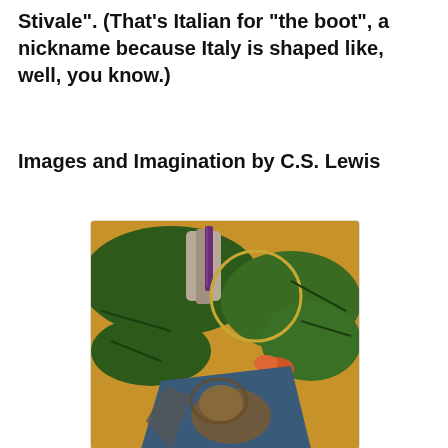Stivale". (That's Italian for "the boot", a nickname because Italy is shaped like, well, you know.)
Images and Imagination by C.S. Lewis
[Figure (photo): A photograph showing a Christmas-style wreath with green branches, a purple candle in a stone or ceramic holder, orange/red decorations, and what appears to be a book or card with an animal (possibly a lion) on the cover, set on a wooden surface.]